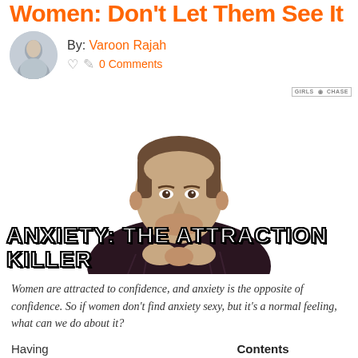Women: Don't Let Them See It
By: Varoon Rajah
0 Comments
[Figure (photo): A man in a dark burgundy sweater with hands clasped, looking serious, with overlay text 'ANXIETY: THE ATTRACTION KILLER' and a Girls Chase logo in the top right corner.]
Women are attracted to confidence, and anxiety is the opposite of confidence. So if women don't find anxiety sexy, but it's a normal feeling, what can we do about it?
Having
Contents